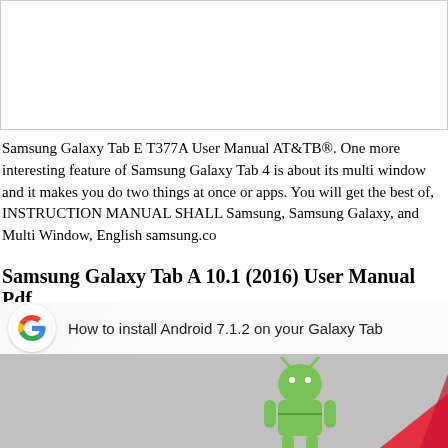[Figure (other): White rectangular box with border, representing an image placeholder at the top of the page]
Samsung Galaxy Tab E T377A User Manual AT&TB®. One more interesting feature of Samsung Galaxy Tab 4 is about its multi window and it makes you do two things at once or apps. You will get the best of, INSTRUCTION MANUAL SHALL Samsung, Samsung Galaxy, and Multi Window, English samsung.co
Samsung Galaxy Tab A 10.1 (2016) User Manual Pdf
[Figure (screenshot): Video thumbnail showing Google icon on left with text 'How to install Android 7.1.2 on your Galaxy Tab' and Android robot mascot on grey background with red arrow element]